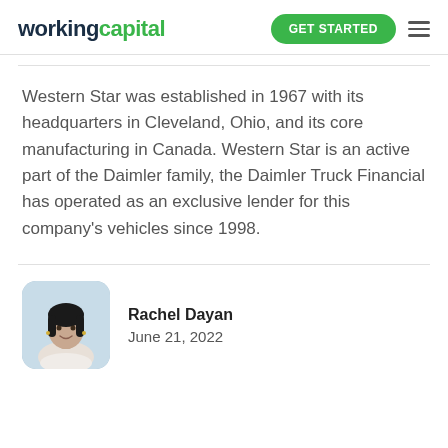workingcapital | GET STARTED
Western Star was established in 1967 with its headquarters in Cleveland, Ohio, and its core manufacturing in Canada. Western Star is an active part of the Daimler family, the Daimler Truck Financial has operated as an exclusive lender for this company's vehicles since 1998.
[Figure (photo): Headshot of Rachel Dayan, a woman with dark shoulder-length hair, smiling, wearing a light-colored top, rounded rectangle crop]
Rachel Dayan
June 21, 2022